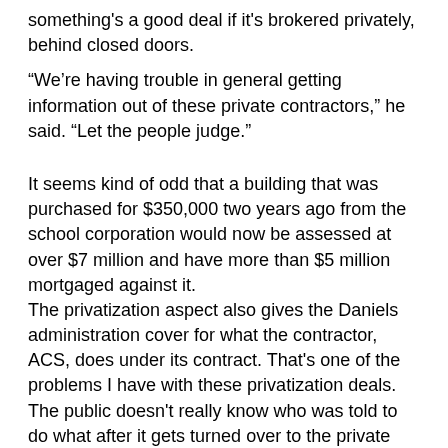something's a good deal if it's brokered privately, behind closed doors.
“We’re having trouble in general getting information out of these private contractors,” he said. “Let the people judge.”
It seems kind of odd that a building that was purchased for $350,000 two years ago from the school corporation would now be assessed at over $7 million and have more than $5 million mortgaged against it.
The privatization aspect also gives the Daniels administration cover for what the contractor, ACS, does under its contract. That’s one of the problems I have with these privatization deals. The public doesn’t really know who was told to do what after it gets turned over to the private operator. This blog was the first to point up the conflict in awarding the contract to IBM, which had partnered with ACS on the billion-dollar privatization deal. FSSA’s Secretary at the time, Mitch Roob, worked for ACS prior to joining the Daniels administration as FSSA Secretary. It was common